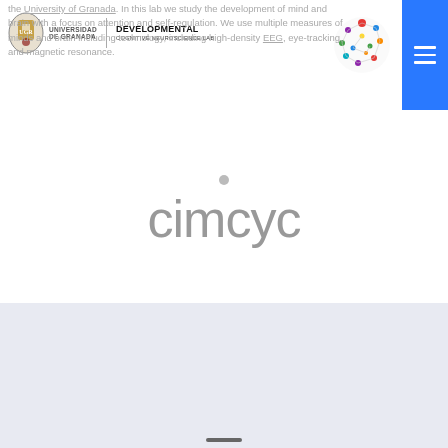Universidad de Granada | Developmental Cognitive Neuroscience Lab
the University of Granada. In this lab we study the development of mind and brain with a focus on attention and self-regulation. We use multiple measures of minds and brain including technology, including high-density EEG, eye-tracking, and magnetic resonance.
[Figure (logo): CIMCYC logo in grey rounded lettering with a small grey dot above]
[Figure (illustration): Light blue-grey footer section at the bottom of the page]